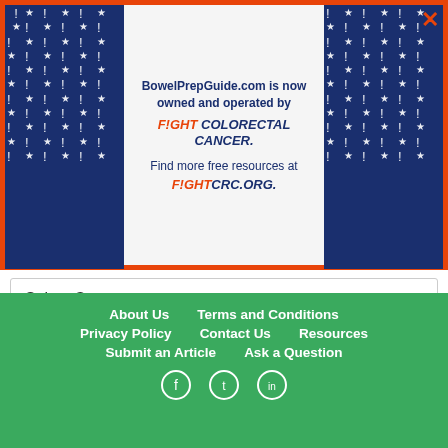[Figure (infographic): BowelPrepGuide.com banner with decorative exclamation mark and star pattern on sides (navy blue background), center text stating the site is now owned by Fight Colorectal Cancer, with close button (orange X) in top right]
Select Category
Archives
Select Month
About Us   Terms and Conditions   Privacy Policy   Contact Us   Resources   Submit an Article   Ask a Question